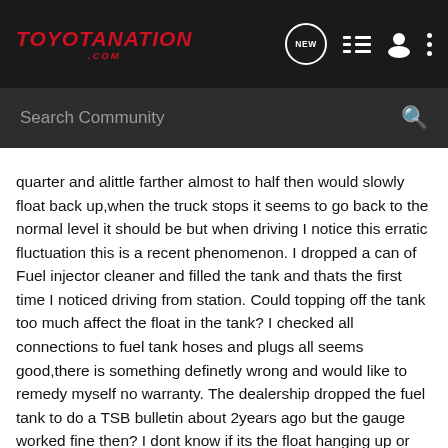TOYOTANATION.COM
Search Community
quarter and alittle farther almost to half then would slowly float back up,when the truck stops it seems to go back to the normal level it should be but when driving I notice this erratic fluctuation this is a recent phenomenon. I dropped a can of Fuel injector cleaner and filled the tank and thats the first time I noticed driving from station. Could topping off the tank too much affect the float in the tank? I checked all connections to fuel tank hoses and plugs all seems good,there is something definetly wrong and would like to remedy myself no warranty. The dealership dropped the fuel tank to do a TSB bulletin about 2years ago but the gauge worked fine then? I dont know if its the float hanging up or electrical problem. The gauge is definetly not giving accurate reading, Any help appreciated. Its a 2004 V6.